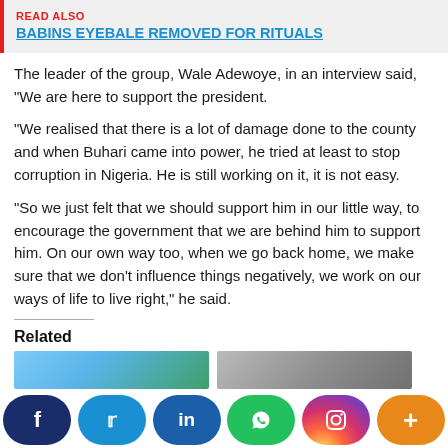READ ALSO BABINS EYEBALE REMOVED FOR RITUALS
The leader of the group, Wale Adewoye, in an interview said, “We are here to support the president.
“We realised that there is a lot of damage done to the county and when Buhari came into power, he tried at least to stop corruption in Nigeria. He is still working on it, it is not easy.
“So we just felt that we should support him in our little way, to encourage the government that we are behind him to support him. On our own way too, when we go back home, we make sure that we don’t influence things negatively, we work on our ways of life to live right,” he said.
Related
[Figure (photo): Two related article thumbnail images side by side]
[Figure (infographic): Social sharing bar with Facebook, Twitter, LinkedIn, WhatsApp, Instagram, and More buttons]